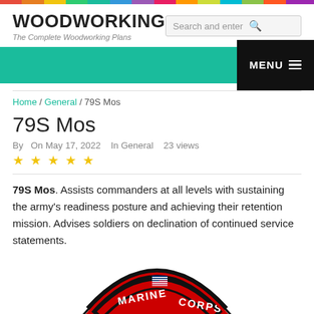WOODWORKING - The Complete Woodworking Plans
79S Mos
By  On May 17, 2022  In General  23 views
79S Mos. Assists commanders at all levels with sustaining the army's readiness posture and achieving their retention mission. Advises soldiers on declination of continued service statements.
[Figure (illustration): Marine Corps badge/patch showing red and black arc with white text 'MARINE CORPS' and a US flag in the center]